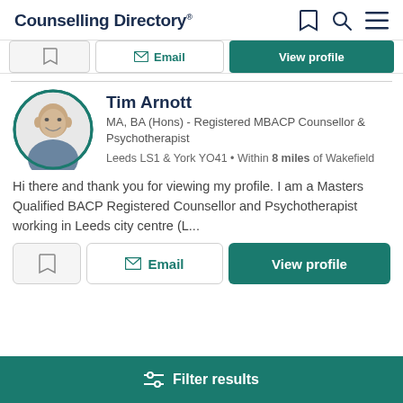Counselling Directory
Email | View profile (top action bar)
Tim Arnott
MA, BA (Hons) - Registered MBACP Counsellor & Psychotherapist
Leeds LS1 & York YO41 • Within 8 miles of Wakefield
Hi there and thank you for viewing my profile. I am a Masters Qualified BACP Registered Counsellor and Psychotherapist working in Leeds city centre (L...
Email | View profile (bottom action bar)
Filter results